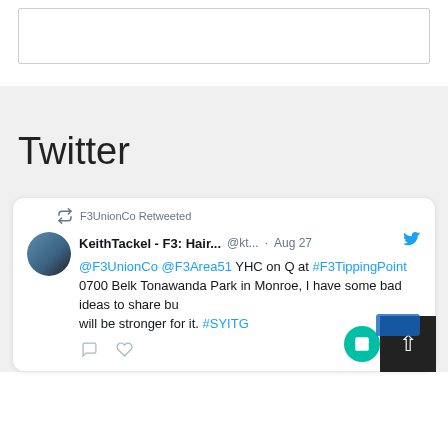[Figure (screenshot): Top white box/panel area]
Twitter
[Figure (screenshot): Tweet card: F3UnionCo Retweeted. KeithTackel - F3: Hair... @kt... · Aug 27. @F3UnionCo @F3Area51 YHC on Q at #F3TippingPoint 0700 Belk Tonawanda Park in Monroe, I have some bad ideas to share but will be stronger for it. #SYITG]